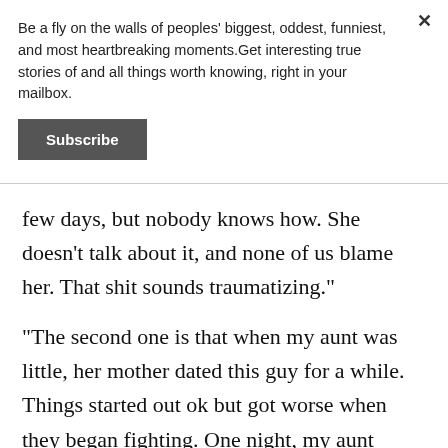Be a fly on the walls of peoples' biggest, oddest, funniest, and most heartbreaking moments.Get interesting true stories of and all things worth knowing, right in your mailbox.
Subscribe
few days, but nobody knows how. She doesn't talk about it, and none of us blame her. That shit sounds traumatizing."
"The second one is that when my aunt was little, her mother dated this guy for a while. Things started out ok but got worse when they began fighting. One night, my aunt heard a gunshot. Her mom was shot and killed by the guy." -- the-cynical-human